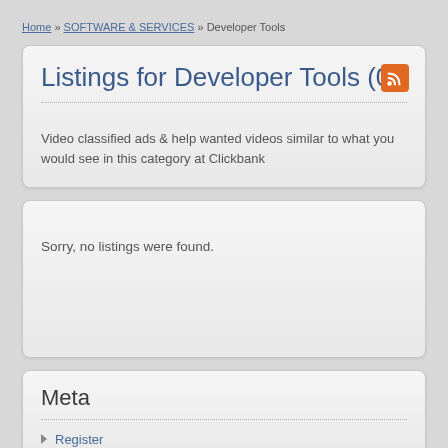Home » SOFTWARE & SERVICES » Developer Tools
Listings for Developer Tools (0)
Video classified ads & help wanted videos similar to what you would see in this category at Clickbank
Sorry, no listings were found.
Meta
Register